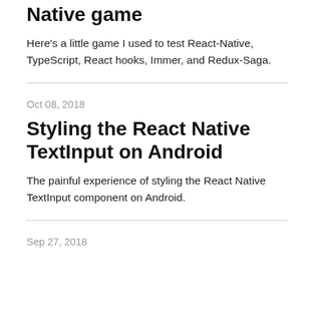Native game
Here's a little game I used to test React-Native, TypeScript, React hooks, Immer, and Redux-Saga.
Oct 08, 2018
Styling the React Native TextInput on Android
The painful experience of styling the React Native TextInput component on Android.
Sep 27, 2018